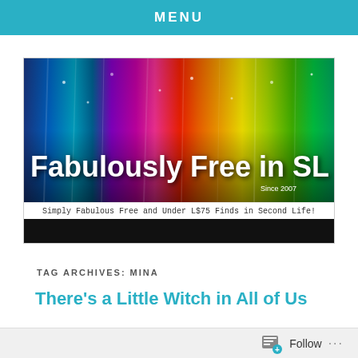MENU
[Figure (illustration): Fabulously Free in SL blog banner with rainbow vertical light streaks background, white bold text reading 'Fabulously Free in SL', subtitle 'Since 2007', tagline 'Simply Fabulous Free and Under L$75 Finds in Second Life!', and a black navigation bar below.]
TAG ARCHIVES: MINA
There’s a Little Witch in All of Us